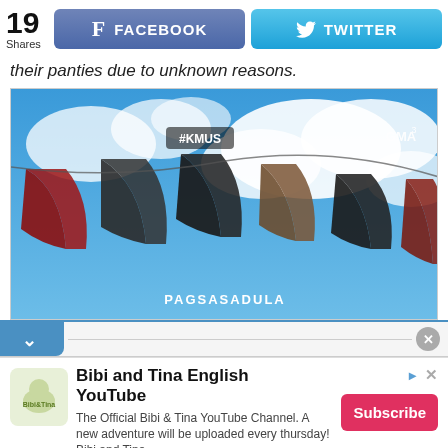[Figure (screenshot): Social sharing bar with count '19 Shares', Facebook button, and Twitter button]
their panties due to unknown reasons.
[Figure (screenshot): TV screenshot from GMA channel showing colorful panties/flags hanging against a blue sky with clouds. Overlaid text: '#KMUS' and 'GMA' watermark, 'PAGSASADULA' text at bottom.]
[Figure (screenshot): Scroll/collapse bar UI element with a blue tab, chevron down arrow, horizontal line, and close (x) circle button]
[Figure (screenshot): Advertisement for 'Bibi and Tina English YouTube' channel featuring logo, title, description text 'The Official Bibi & Tina YouTube Channel. A new adventure will be uploaded every thursday! Bibi and Tina', and a red Subscribe button]